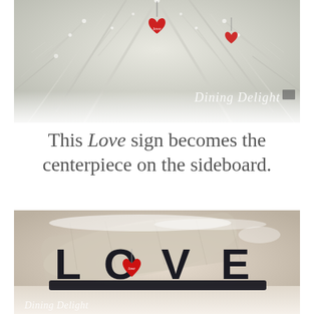[Figure (photo): Top portion of a decorated Christmas tree with silver/white frosted branches, red heart ornaments, and a watermark reading 'Dining Delight' in script in the lower right corner.]
This Love sign becomes the centerpiece on the sideboard.
[Figure (photo): A black wooden LOVE sign on a base/stand, with a red heart ornament hanging from the O. Behind it are white birch logs and snow-dusted Christmas decor. A 'Dining Delight' watermark appears in the lower left corner.]